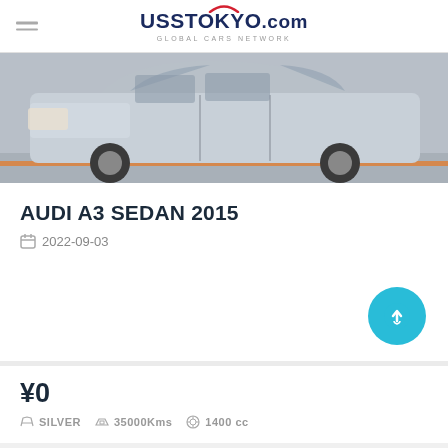UssTokyo.com — Global Cars Network
[Figure (photo): Silver Audi A3 Sedan photographed from front-left angle, parked near a wall with an orange line visible at the bottom]
AUDI A3 SEDAN 2015
2022-09-03
¥0
SILVER   35000Kms   1400 cc